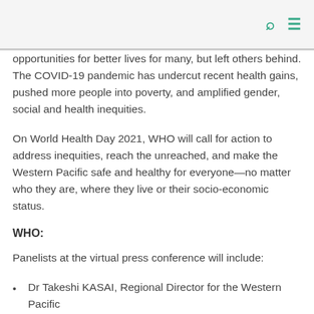search and menu icons
opportunities for better lives for many, but left others behind. The COVID-19 pandemic has undercut recent health gains, pushed more people into poverty, and amplified gender, social and health inequities.
On World Health Day 2021, WHO will call for action to address inequities, reach the unreached, and make the Western Pacific safe and healthy for everyone—no matter who they are, where they live or their socio-economic status.
WHO:
Panelists at the virtual press conference will include:
Dr Takeshi KASAI, Regional Director for the Western Pacific